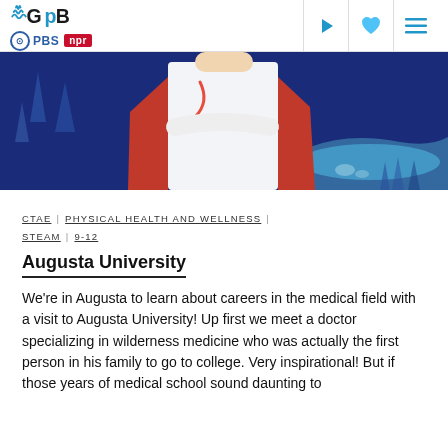GPB | PBS | NPR
[Figure (photo): Doctor in white lab coat with red cape, arms crossed, against a dark blue illustrated background with nature elements]
CTAE | PHYSICAL HEALTH AND WELLNESS | STEAM | 9-12
Augusta University
We're in Augusta to learn about careers in the medical field with a visit to Augusta University! Up first we meet a doctor specializing in wilderness medicine who was actually the first person in his family to go to college. Very inspirational! But if those years of medical school sound daunting to